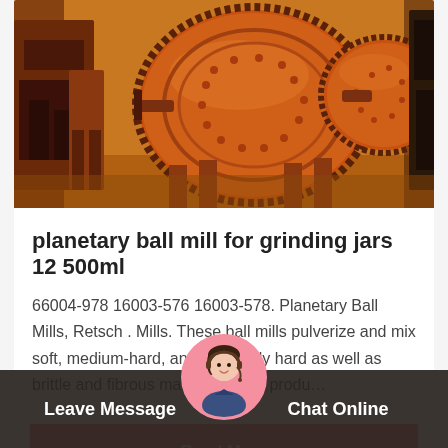[Figure (photo): Large orange industrial ball mill machine photographed outdoors on sandy ground. Heavy orange cylindrical drums with gear teeth visible, industrial mining/grinding equipment.]
planetary ball mill for grinding jars 12 500ml
66004-978 16003-576 16003-578. Planetary Ball Mills, Retsch . Mills. These ball mills pulverize and mix soft, medium-hard, and extremely hard as well as brittle and fibrous materials. Mills produ…
Read More
Leave Message
Chat Online